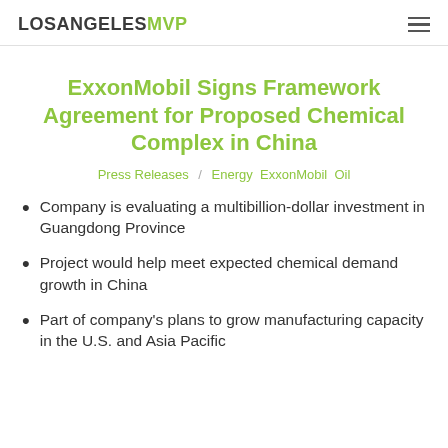LOSANGELESMVP
ExxonMobil Signs Framework Agreement for Proposed Chemical Complex in China
Press Releases / Energy ExxonMobil Oil
Company is evaluating a multibillion-dollar investment in Guangdong Province
Project would help meet expected chemical demand growth in China
Part of company's plans to grow manufacturing capacity in the U.S. and Asia Pacific